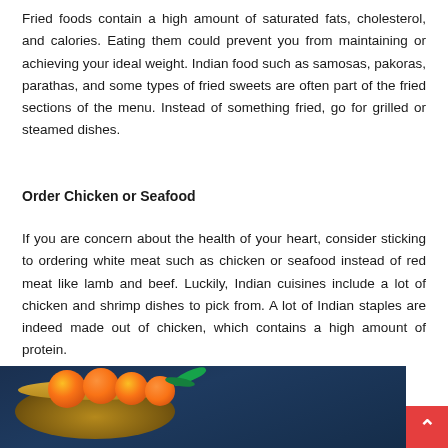Fried foods contain a high amount of saturated fats, cholesterol, and calories. Eating them could prevent you from maintaining or achieving your ideal weight. Indian food such as samosas, pakoras, parathas, and some types of fried sweets are often part of the fried sections of the menu. Instead of something fried, go for grilled or steamed dishes.
Order Chicken or Seafood
If you are concern about the health of your heart, consider sticking to ordering white meat such as chicken or seafood instead of red meat like lamb and beef. Luckily, Indian cuisines include a lot of chicken and shrimp dishes to pick from. A lot of Indian staples are indeed made out of chicken, which contains a high amount of protein.
[Figure (photo): Photo of a food bowl with oranges/tomatoes and green leaves on a dark blue surface, partially visible at the bottom of the page.]